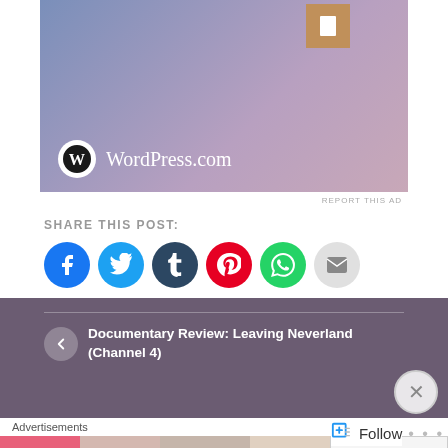[Figure (screenshot): WordPress.com advertisement banner with gradient blue-purple background and WordPress logo]
REPORT THIS AD
SHARE THIS POST:
[Figure (infographic): Row of social share icon buttons: Facebook, Twitter, Tumblr, Pinterest, WhatsApp, Email]
[Figure (infographic): Like button with star icon, followed by three blogger avatars (photo, silhouette, black square)]
3 bloggers like this.
Documentary Review: Leaving Neverland (Channel 4)
Advertisements
[Figure (screenshot): ULTA beauty advertisement strip showing makeup close-ups with SHOP button]
Follow